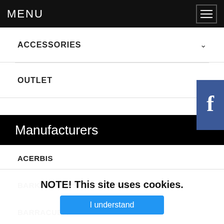MENU
ACCESSORIES
OUTLET
Manufacturers
ACERBIS
BARKBUSTERS
BARRACUDA
BASSANI
BILTWELL
CARDO SYSTEMS
DP BRAKES
NOTE! This site uses cookies.
I understand